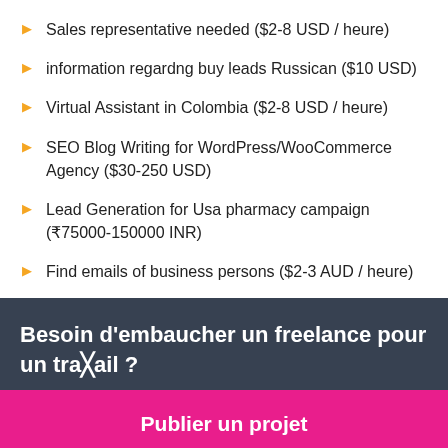Sales representative needed ($2-8 USD / heure)
information regardng buy leads Russican ($10 USD)
Virtual Assistant in Colombia ($2-8 USD / heure)
SEO Blog Writing for WordPress/WooCommerce Agency ($30-250 USD)
Lead Generation for Usa pharmacy campaign (₹75000-150000 INR)
Find emails of business persons ($2-3 AUD / heure)
Besoin d'embaucher un freelance pour un travail ?
Publier un projet